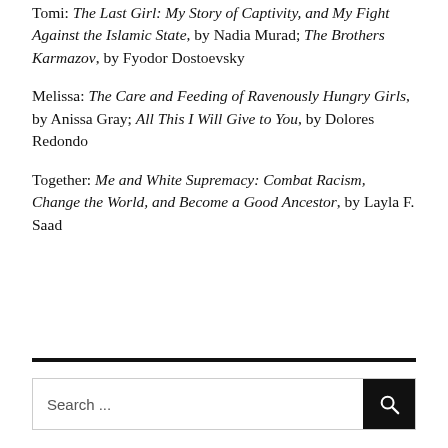Tomi: The Last Girl: My Story of Captivity, and My Fight Against the Islamic State, by Nadia Murad; The Brothers Karmazov, by Fyodor Dostoevsky
Melissa: The Care and Feeding of Ravenously Hungry Girls, by Anissa Gray; All This I Will Give to You, by Dolores Redondo
Together: Me and White Supremacy: Combat Racism, Change the World, and Become a Good Ancestor, by Layla F. Saad
Search ...